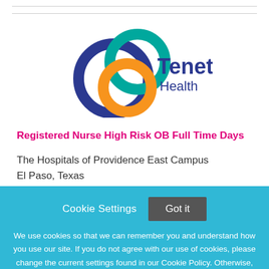[Figure (logo): Tenet Health logo with three interlocking circles in dark blue, teal/green, and orange, with 'Tenet' in dark blue bold text and 'Health' below it in smaller dark blue text]
Registered Nurse High Risk OB Full Time Days
The Hospitals of Providence East Campus
El Paso, Texas
Cookie Settings  Got it
We use cookies so that we can remember you and understand how you use our site. If you do not agree with our use of cookies, please change the current settings found in our Cookie Policy. Otherwise, you agree to the use of the cookies as they are currently set.